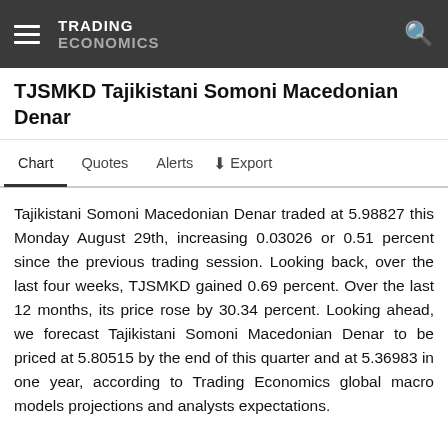TRADING ECONOMICS
TJSMKD Tajikistani Somoni Macedonian Denar
Chart   Quotes   Alerts   Export
Tajikistani Somoni Macedonian Denar traded at 5.98827 this Monday August 29th, increasing 0.03026 or 0.51 percent since the previous trading session. Looking back, over the last four weeks, TJSMKD gained 0.69 percent. Over the last 12 months, its price rose by 30.34 percent. Looking ahead, we forecast Tajikistani Somoni Macedonian Denar to be priced at 5.80515 by the end of this quarter and at 5.36983 in one year, according to Trading Economics global macro models projections and analysts expectations.